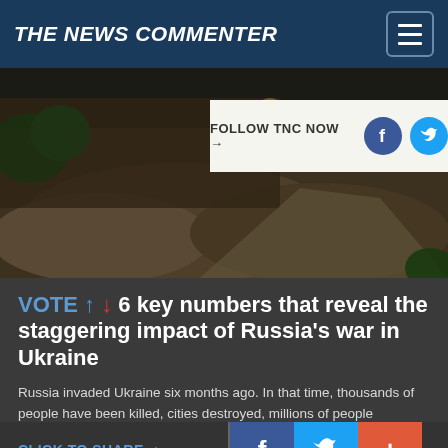THE NEWS COMMENTER
[Figure (photo): Outdoor scene showing mounded dirt/earth near a wall with green foliage, possibly a grave site or construction area]
FOLLOW TNC NOW →
VOTE ↑ ↓ 6 key numbers that reveal the staggering impact of Russia's war in Ukraine
Russia invaded Ukraine six months ago. In that time, thousands of people have been killed, cities destroyed, millions of people displaced and the Ukrainian economy has been battered.
Comment | Full Story | Npr.org on TNC |
CLICK TO SHARE →